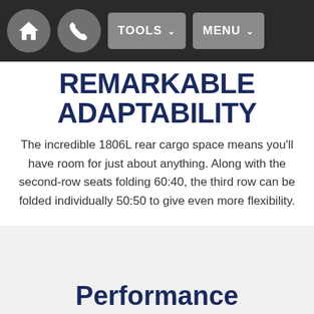TOOLS  MENU
REMARKABLE ADAPTABILITY
The incredible 1806L rear cargo space means you'll have room for just about anything. Along with the second-row seats folding 60:40, the third row can be folded individually 50:50 to give even more flexibility.
Performance